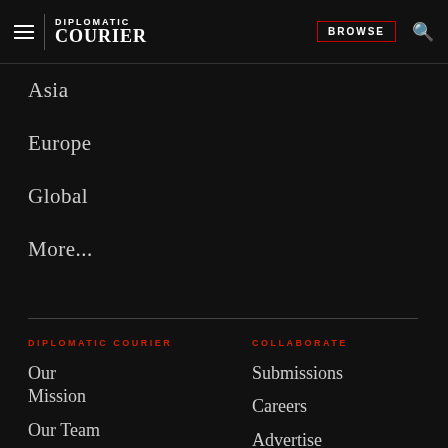DIPLOMATIC COURIER | BROWSE
Asia
Europe
Global
More...
DIPLOMATIC COURIER
Our Mission
Our Team
News & Media
COLLABORATE
Submissions
Careers
Advertise